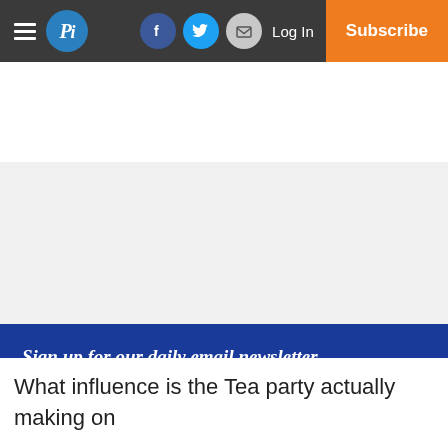Pi — Log In — Subscribe
Sign up for our daily email newsletter
Get the latest news sent to your inbox
add your email address here, ca
Subscribe
What influence is the Tea party actually making on